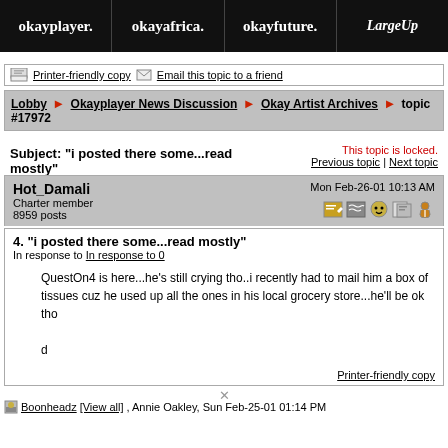okayplayer. | okayafrica. | okayfuture. | LargeUp
Printer-friendly copy | Email this topic to a friend
Lobby ► Okayplayer News Discussion ► Okay Artist Archives ► topic #17972
Subject: "i posted there some...read mostly"
This topic is locked.
Previous topic | Next topic
Hot_Damali
Charter member
8959 posts
Mon Feb-26-01 10:13 AM
4. "i posted there some...read mostly"
In response to In response to 0

QuestOn4 is here...he's still crying tho..i recently had to mail him a box of tissues cuz he used up all the ones in his local grocery store...he'll be ok tho

d

Printer-friendly copy
Boonheadz [View all] , Annie Oakley, Sun Feb-25-01 01:14 PM